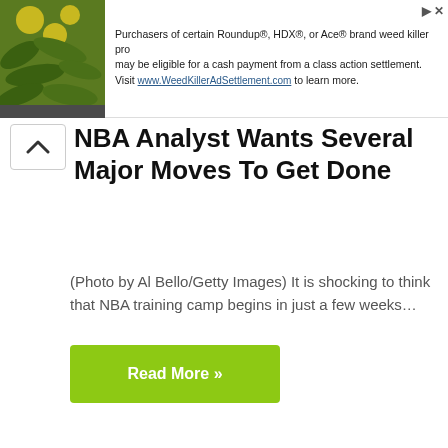[Figure (other): Advertisement banner with plant/flower image on left and text about Roundup, HDX, or Ace brand weed killer class action settlement on right. URL: www.WeedKillerAdSettlement.com]
NBA Analyst Wants Several Major Moves To Get Done
(Photo by Al Bello/Getty Images) It is shocking to think that NBA training camp begins in just a few weeks…
Read More »